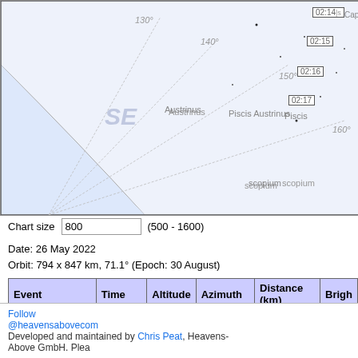[Figure (other): Star chart / sky map showing satellite pass track over SE sky with constellation labels (Capricornus, Piscis Austrinus, Microscopium, Sagittarius, Corona Australis), azimuth lines at 130°, 140°, 150°, 160°, SE label, and time markers 02:14, 02:15, 02:16, 02:17 in boxes along the pass track.]
Chart size 800 (500 - 1600)
Date: 26 May 2022
Orbit: 794 x 847 km, 71.1° (Epoch: 30 August)
| Event | Time | Altitude | Azimuth | Distance (km) | Brigh... |
| --- | --- | --- | --- | --- | --- |
| Rises | 02:02:19 | 0° | 335° (NNW) | 3,306 | 7. |
| Reaches altitude 10° | 02:04:45 | 10° | 337° (NNW) | 2,372 | 6. |
| Maximum altitude | 02:10:10 | 78° | 64° (ENE) | 818 | 3. |
| Drops below altitude 10° | 02:15:34 | 10° | 151° (SSE) | 2,366 | 5. |
| Sets | 02:17:58 | 0° | 153° (SSE) | 3,297 | 6. |
Follow @heavensabovecom   Developed and maintained by Chris Peat, Heavens-Above GmbH. Plea...